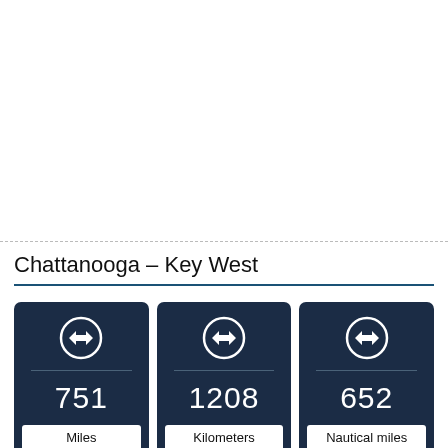Chattanooga – Key West
| Miles | Kilometers | Nautical miles |
| --- | --- | --- |
| 751 | 1208 | 652 |